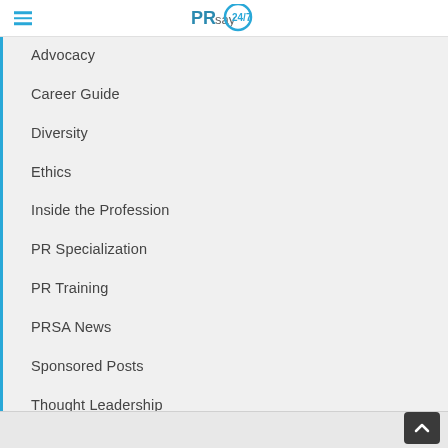PRSA PRSay logo with hamburger menu
Advocacy
Career Guide
Diversity
Ethics
Inside the Profession
PR Specialization
PR Training
PRSA News
Sponsored Posts
Thought Leadership